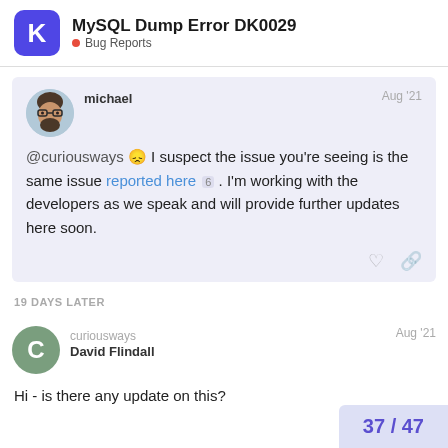MySQL Dump Error DK0029 · Bug Reports
@curiousways 😞 I suspect the issue you're seeing is the same issue reported here 6 . I'm working with the developers as we speak and will provide further updates here soon.
19 DAYS LATER
curiousways David Flindall Aug '21
Hi - is there any update on this?
37 / 47